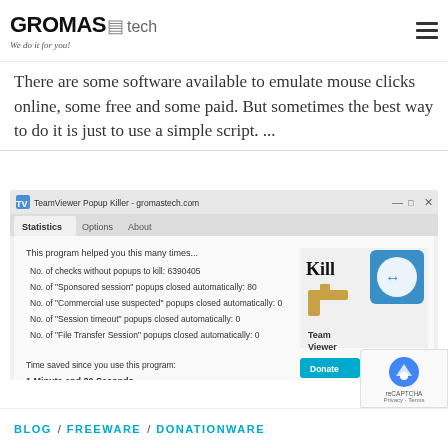GROMASTech - We do it for you!
There are some software available to emulate mouse clicks online, some free and some paid. But sometimes the best way to do it is just to use a simple script. ...
[Figure (screenshot): Screenshot of TeamViewer Popup Killer application from gromastech.com showing Statistics tab with counts of checks without popups to kill: 6390405, Sponsored session popups closed: 80, Commercial use suspected popups closed: 0, Session timeout popups closed: 0, File Transfer Session popups closed: 0. Time saved: 1 Minute and 20 Seconds. Logo shows a gun shooting at the TeamViewer logo with text Kill TeamViewer. Donate and Reset Stats buttons visible.]
BLOG / FREEWARE / DONATIONWARE